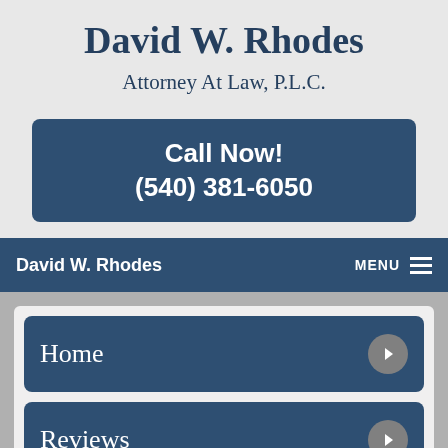David W. Rhodes
Attorney At Law, P.L.C.
Call Now!
(540) 381-6050
David W. Rhodes    MENU
Home
Reviews